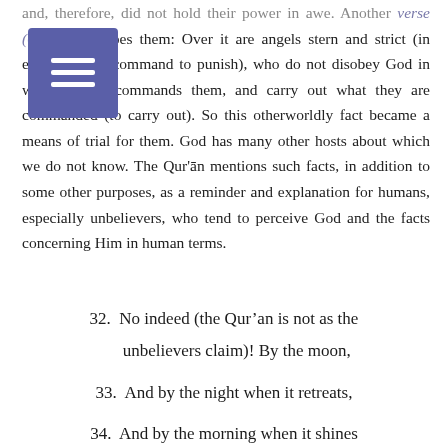and, therefore, did not hold their power in awe. Another verse (66: 6) describes them: Over it are angels stern and strict (in executing the command to punish), who do not disobey God in whatever He commands them, and carry out what they are commanded (to carry out). So this otherworldly fact became a means of trial for them. God has many other hosts about which we do not know. The Qur'ān mentions such facts, in addition to some other purposes, as a reminder and explanation for humans, especially unbelievers, who tend to perceive God and the facts concerning Him in human terms.
32. No indeed (the Qur'an is not as the unbelievers claim)! By the moon,
33. And by the night when it retreats,
34. And by the morning when it shines forth,7